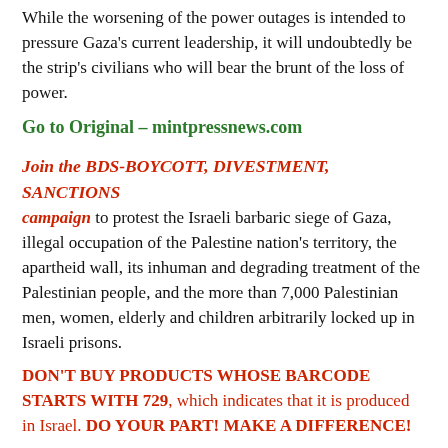While the worsening of the power outages is intended to pressure Gaza's current leadership, it will undoubtedly be the strip's civilians who will bear the brunt of the loss of power.
Go to Original – mintpressnews.com
Join the BDS-BOYCOTT, DIVESTMENT, SANCTIONS campaign to protest the Israeli barbaric siege of Gaza, illegal occupation of the Palestine nation's territory, the apartheid wall, its inhuman and degrading treatment of the Palestinian people, and the more than 7,000 Palestinian men, women, elderly and children arbitrarily locked up in Israeli prisons.
DON'T BUY PRODUCTS WHOSE BARCODE STARTS WITH 729, which indicates that it is produced in Israel. DO YOUR PART! MAKE A DIFFERENCE!
7 2 9: BOYCOTT FOR JUSTICE!